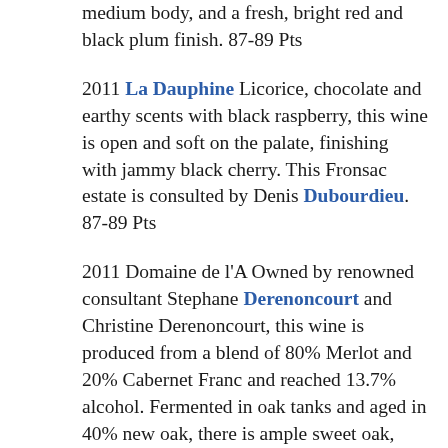medium body, and a fresh, bright red and black plum finish. 87-89 Pts
2011 La Dauphine Licorice, chocolate and earthy scents with black raspberry, this wine is open and soft on the palate, finishing with jammy black cherry. This Fronsac estate is consulted by Denis Dubourdieu. 87-89 Pts
2011 Domaine de l'A Owned by renowned consultant Stephane Derenoncourt and Christine Derenoncourt, this wine is produced from a blend of 80% Merlot and 20% Cabernet Franc and reached 13.7% alcohol. Fermented in oak tanks and aged in 40% new oak, there is ample sweet oak, licorice, earth and black raspberry. With soft, round textures, this forward style of wine should drink well on release. 90-91 Pts